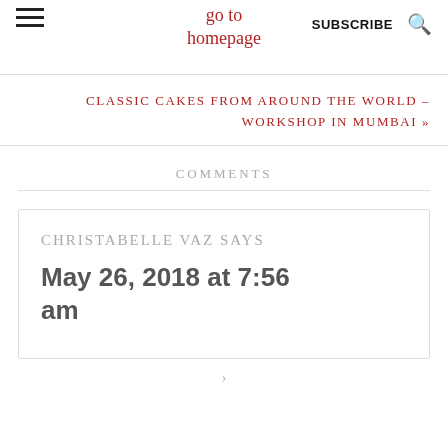go to homepage | SUBSCRIBE
CLASSIC CAKES FROM AROUND THE WORLD – WORKSHOP IN MUMBAI »
COMMENTS
CHRISTABELLE VAZ SAYS
May 26, 2018 at 7:56 am